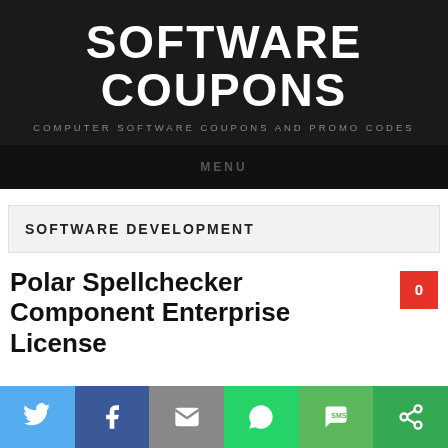SOFTWARE COUPONS
COMPUTER SOFTWARE COUPONS AND PROMO CODES
MENU
SOFTWARE DEVELOPMENT
Polar Spellchecker Component Enterprise License
[Figure (infographic): Social sharing buttons row: Twitter (blue), Facebook (dark blue), Email (gray), WhatsApp (green), SMS (green), Share (dark green)]